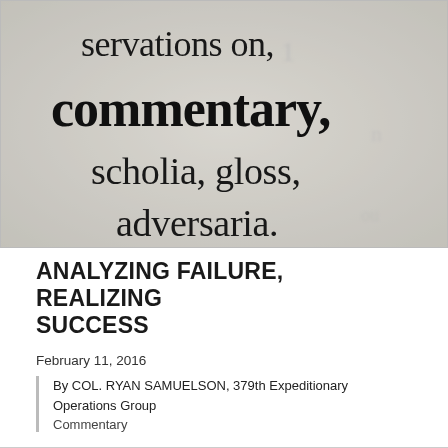[Figure (photo): Close-up photograph of a dictionary page showing words: 'servations on,', 'commentary,', 'scholia, gloss,', 'adversaria.' in varying font sizes and weights, black and white.]
ANALYZING FAILURE, REALIZING SUCCESS
February 11, 2016
By COL. RYAN SAMUELSON, 379th Expeditionary Operations Group
Commentary